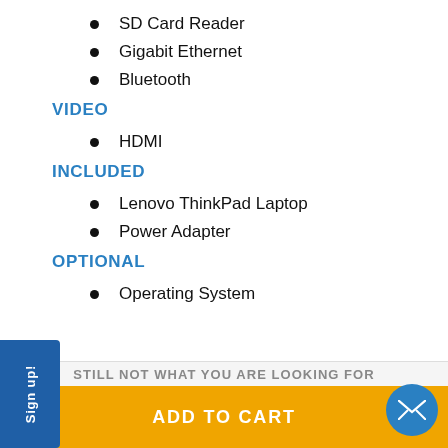SD Card Reader
Gigabit Ethernet
Bluetooth
VIDEO
HDMI
INCLUDED
Lenovo ThinkPad Laptop
Power Adapter
OPTIONAL
Operating System
STILL NOT WHAT YOU ARE LOOKING FOR
ADD TO CART